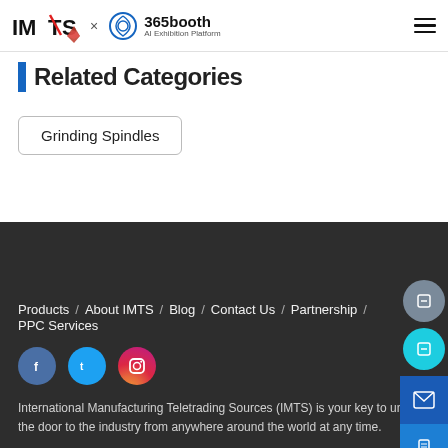IMTS × 365booth AI Exhibition Platform
Related Categories
Grinding Spindles
Products / About IMTS / Blog / Contact Us / Partnership / PPC Services
International Manufacturing Teletrading Sources (IMTS) is your key to unlock the door to the industry from anywhere around the world at any time.